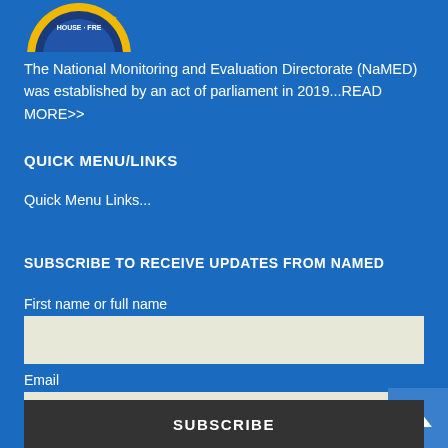[Figure (logo): Partial circular government logo/seal with yellow and blue colors, text partially visible showing HOUSE and FRE]
The National Monitoring and Evaluation Directorate (NaMED) was established by an act of parliament in 2019...READ MORE>>
QUICK MENU/LINKS
Quick Menu Links...
SUBSCRIBE TO RECEIVE UPDATES FROM NAMED
First name or full name
Email
SUBSCRIBE